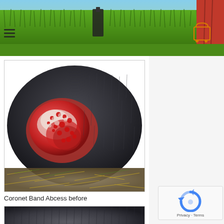[Figure (photo): Website header with green grass background, hamburger menu icon on left, cart icon on right, person in red clothing visible at far right, green bar below]
[Figure (photo): Close-up photograph of a horse hoof showing a coronet band abscess with red, bloody, inflamed tissue on dark fur/hair]
Coronet Band Abcess before
[Figure (photo): Second close-up photograph of dark horse fur/hair area, partial view of hoof region]
[Figure (other): reCAPTCHA widget showing circular arrow logo with Privacy and Terms links]